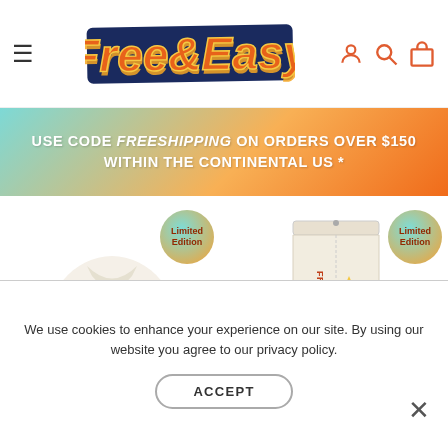Free & Easy — navigation header with hamburger menu, logo, and icons (account, search, cart)
USE CODE FREESHIPPING ON ORDERS OVER $150 WITHIN THE CONTINENTAL US *
[Figure (photo): Two Free & Easy limited edition products: a white jacket with sunburst graphic and 'FREE & EASY DON'T TRIP' text on back, and white pants with sunburst graphics and 'FREE & EASY DON'T TRIP' text on leg. Both items have a 'Limited Edition' badge.]
We use cookies to enhance your experience on our site. By using our website you agree to our privacy policy.